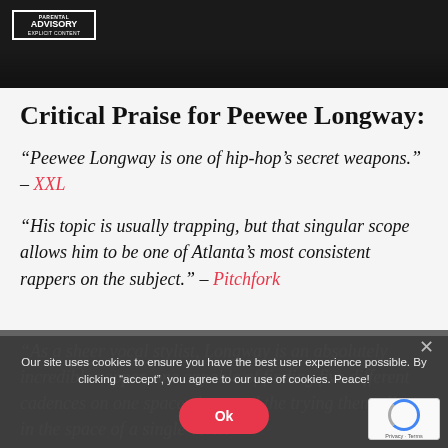[Figure (photo): Dark album cover image with Parental Advisory Explicit Content label in top-left corner, dark car visible in background]
Critical Praise for Peewee Longway:
“Peewee Longway is one of hip-hop’s secret weapons.” – XXL
“His topic is usually trapping, but that singular scope allows him to be one of Atlanta’s most consistent rappers on the subject.” – Pitchfork
“As a sheer vocal stylist, Longway is an absolutely incredible rapper, one capable of finding five different cadences on one spacey beat and then trying them all out in the space of a single ver…
Our site uses cookies to ensure you have the best user experience possible. By clicking “accept”, you agree to our use of cookies. Peace!